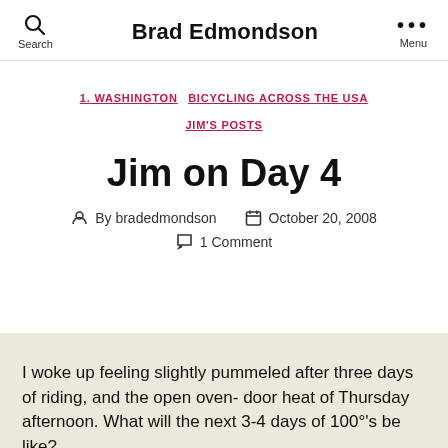Brad Edmondson
1. WASHINGTON   BICYCLING ACROSS THE USA   JIM'S POSTS
Jim on Day 4
By bradedmondson   October 20, 2008   1 Comment
I woke up feeling slightly pummeled after three days of riding, and the open oven- door heat of Thursday afternoon. What will the next 3-4 days of 100°'s be like?